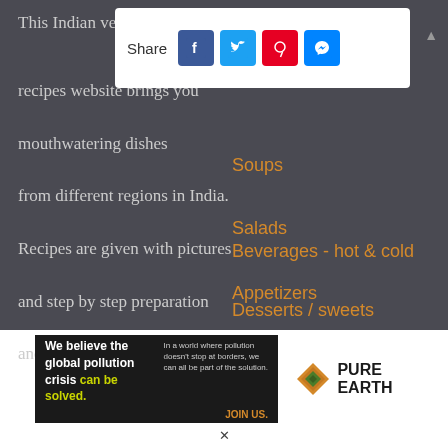[Figure (infographic): Share bar with Facebook, Twitter, Pinterest, and Messenger icons on white background]
This Indian ve recipes website brings you mouthwatering dishes from different regions in India. Recipes are given with pictures and step by step preparation and cooking instructions.
Soups
Salads
Appetizers
Beverages - hot & cold
Desserts / sweets
[Figure (infographic): Pure Earth advertisement banner: 'We believe the global pollution crisis can be solved.' with JOIN US. Pure Earth logo on right.]